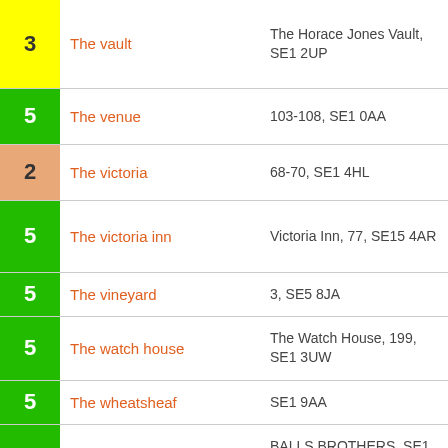| Score | Name | Address |
| --- | --- | --- |
| 3 | The vault | The Horace Jones Vault, SE1 2UP |
| 5 | The venue | 103-108, SE1 0AA |
| 2 | The victoria | 68-70, SE1 4HL |
| 5 | The victoria inn | Victoria Inn, 77, SE15 4AR |
| 5 | The vineyard | 3, SE5 8JA |
| 5 | The watch house | The Watch House, 199, SE1 3UW |
| 5 | The wheatsheaf | SE1 9AA |
| 5 | The wheatsheaf | BALLS BROTHERS, SE1 1TY |
| 5 | The white horse | 20, SE15 4JR |
| 5 | The win[d...] | 3, SE15 1NQ |